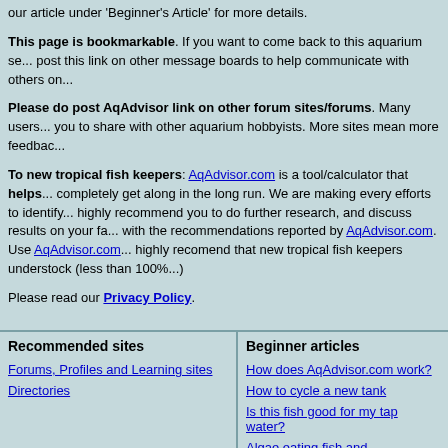our article under 'Beginner's Article' for more details.
This page is bookmarkable. If you want to come back to this aquarium se... post this link on other message boards to help communicate with others on...
Please do post AqAdvisor link on other forum sites/forums. Many users... you to share with other aquarium hobbyists. More sites mean more feedbac...
To new tropical fish keepers: AqAdvisor.com is a tool/calculator that helps... completely get along in the long run. We are making every efforts to identify... highly recommend you to do further research, and discuss results on your fa... with the recommendations reported by AqAdvisor.com. Use AqAdvisor.com... highly recomend that new tropical fish keepers understock (less than 100%...
Please read our Privacy Policy.
Recommended sites
Forums, Profiles and Learning sites
Directories
Beginner articles
How does AqAdvisor.com work?
How to cycle a new tank
Is this fish good for my tap water?
Algae eating fish and invertebrates
Treating ich using high temperature
Introduction to mbuna species
Stocking 55g aquarium for beginners
Equipment recommendations